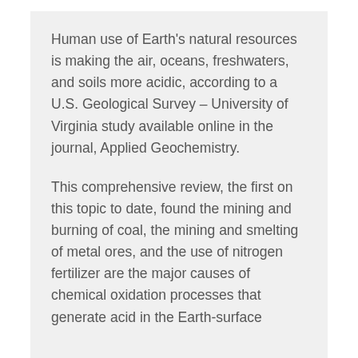Human use of Earth's natural resources is making the air, oceans, freshwaters, and soils more acidic, according to a U.S. Geological Survey – University of Virginia study available online in the journal, Applied Geochemistry.
This comprehensive review, the first on this topic to date, found the mining and burning of coal, the mining and smelting of metal ores, and the use of nitrogen fertilizer are the major causes of chemical oxidation processes that generate acid in the Earth-surface